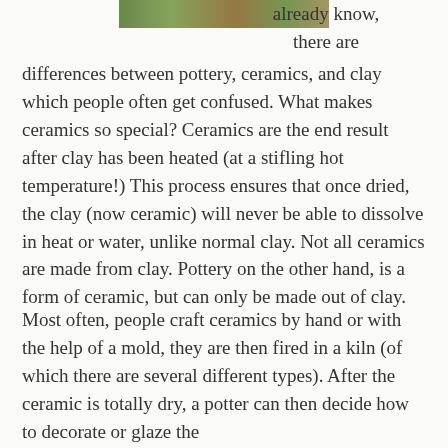[Figure (photo): Partial view of ceramics/pottery photo at top of page, cropped]
already know, there are differences between pottery, ceramics, and clay which people often get confused. What makes ceramics so special? Ceramics are the end result after clay has been heated (at a stifling hot temperature!) This process ensures that once dried, the clay (now ceramic) will never be able to dissolve in heat or water, unlike normal clay. Not all ceramics are made from clay. Pottery on the other hand, is a form of ceramic, but can only be made out of clay.
Most often, people craft ceramics by hand or with the help of a mold, they are then fired in a kiln (of which there are several different types). After the ceramic is totally dry, a potter can then decide how to decorate or glaze the